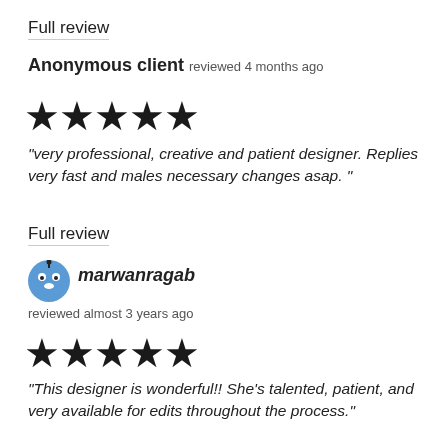Full review
Anonymous client reviewed 4 months ago
[Figure (other): Five black star rating icons]
"very professional, creative and patient designer. Replies very fast and males necessary changes asap. "
Full review
[Figure (photo): Avatar icon of user marwanragab - blue cartoon character]
marwanragab
reviewed almost 3 years ago
[Figure (other): Five black star rating icons]
"This designer is wonderful!! She's talented, patient, and very available for edits throughout the process."